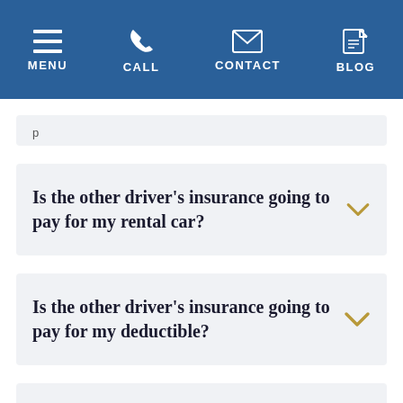MENU  CALL  CONTACT  BLOG
Is the other driver’s insurance going to pay for my rental car?
Is the other driver’s insurance going to pay for my deductible?
Can I use my health insurance to pay for my medical bills?
If I don’t have health insurance